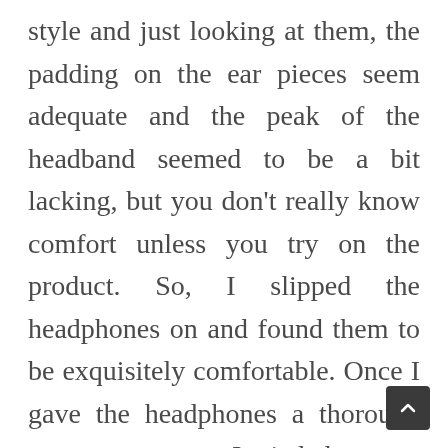style and just looking at them, the padding on the ear pieces seem adequate and the peak of the headband seemed to be a bit lacking, but you don't really know comfort unless you try on the product. So, I slipped the headphones on and found them to be exquisitely comfortable. Once I gave the headphones a thorough once-over exam, I tried them on. As I mentioned, they have a classic over-the-ear style and just looking at them, the padding on the ear pieces seem adequate and the peak of the headband seemed to be a bit lacking, but you don't really know comfort unless you try on the product. So, I slipped the headphones on and found them to be